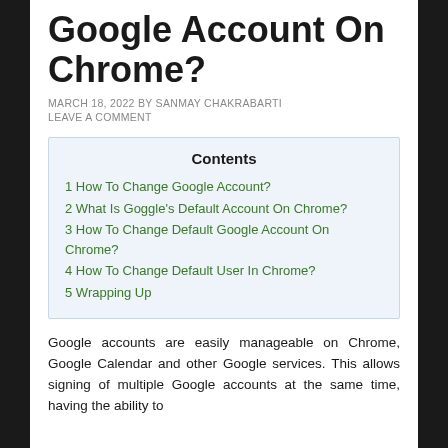Google Account On Chrome?
MARCH 18, 2022 BY SANMAY CHAKRABARTI
LEAVE A COMMENT
| Contents |
| --- |
| 1 How To Change Google Account? |
| 2 What Is Goggle's Default Account On Chrome? |
| 3 How To Change Default Google Account On Chrome? |
| 4 How To Change Default User In Chrome? |
| 5 Wrapping Up |
Google accounts are easily manageable on Chrome, Google Calendar and other Google services. This allows signing of multiple Google accounts at the same time, having the ability to